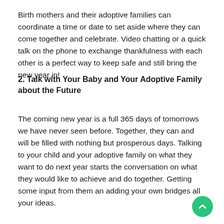Birth mothers and their adoptive families can coordinate a time or date to set aside where they can come together and celebrate. Video chatting or a quick talk on the phone to exchange thankfulness with each other is a perfect way to keep safe and still bring the new year in!
2. Talk with Your Baby and Your Adoptive Family about the Future
The coming new year is a full 365 days of tomorrows we have never seen before. Together, they can and will be filled with nothing but prosperous days. Talking to your child and your adoptive family on what they want to do next year starts the conversation on what they would like to achieve and do together. Getting some input from them an adding your own bridges all your ideas.